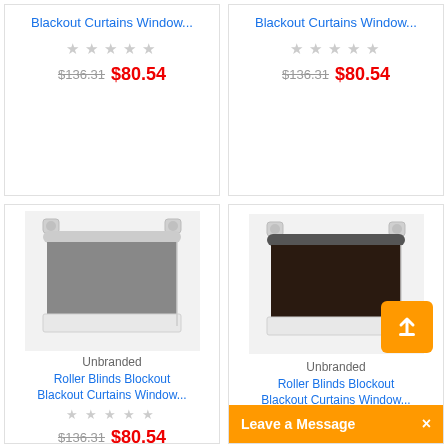Blackout Curtains Window...
★★★★★ (empty stars)
$136.31  $80.54
Blackout Curtains Window...
★★★★★ (empty stars)
$136.31  $80.54
[Figure (photo): Gray roller blind/blackout curtain product photo]
Unbranded
Roller Blinds Blockout Blackout Curtains Window...
★★★★★ (empty stars)
$136.31  $80.54
[Figure (photo): Dark brown/black roller blind/blackout curtain product photo]
Unbranded
Roller Blinds Blockout Blackout Curtains Window...
★★★★★ (empty stars)
Leave a Message  ×